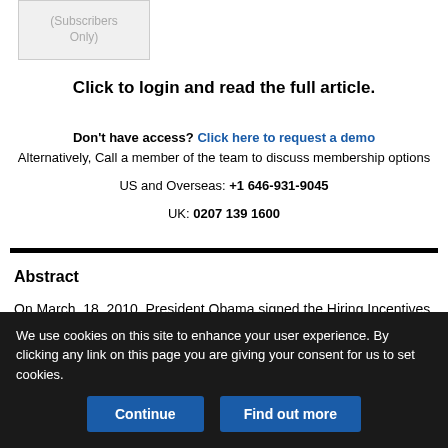[Figure (other): Greyed out box with text '(Subscribers Only)']
Click to login and read the full article.
Don't have access? Click here to request a demo
Alternatively, Call a member of the team to discuss membership options
US and Overseas: +1 646-931-9045
UK: 0207 139 1600
Abstract
On March, 18, 2010, President Obama signed the Hiring Incentives to Restore Employment Act (HIRE Act) into law. While the main focus
We use cookies on this site to enhance your user experience. By clicking any link on this page you are giving your consent for us to set cookies.